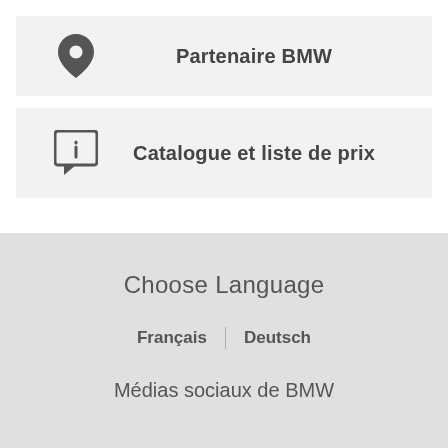Partenaire BMW
Catalogue et liste de prix
Choose Language
Français | Deutsch
Médias sociaux de BMW